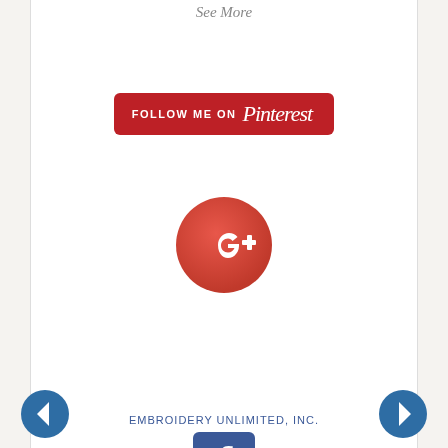See More
[Figure (logo): Follow Me on Pinterest button — red rounded rectangle with white uppercase text 'FOLLOW ME ON' and Pinterest script logo]
[Figure (logo): Google+ icon — red/coral circle with white G+ text]
EMBROIDERY UNLIMITED, INC.
[Figure (logo): Facebook logo — blue square with white lowercase f]
Promote Your Page Too